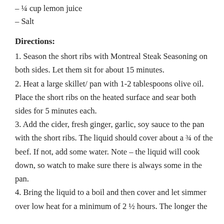– ¼ cup lemon juice
– Salt
Directions:
1. Season the short ribs with Montreal Steak Seasoning on both sides. Let them sit for about 15 minutes.
2. Heat a large skillet/ pan with 1-2 tablespoons olive oil. Place the short ribs on the heated surface and sear both sides for 5 minutes each.
3. Add the cider, fresh ginger, garlic, soy sauce to the pan with the short ribs. The liquid should cover about a ¾ of the beef. If not, add some water. Note – the liquid will cook down, so watch to make sure there is always some in the pan.
4. Bring the liquid to a boil and then cover and let simmer over low heat for a minimum of 2 ½ hours. The longer the better.